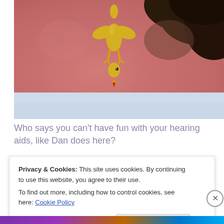[Figure (photo): Close-up photo of a person's neck/ear area with reddish sunburned skin, dark hair visible at top right, and a small yellow rubber chicken / bird figurine hanging down near the ear as a decorative hearing aid accessory. The bird has a red beak tip. Blue/white clothing visible at bottom.]
Who says you can't have fun with your hearing aids, like Dan does here?
Privacy & Cookies: This site uses cookies. By continuing to use this website, you agree to their use.
To find out more, including how to control cookies, see here: Cookie Policy